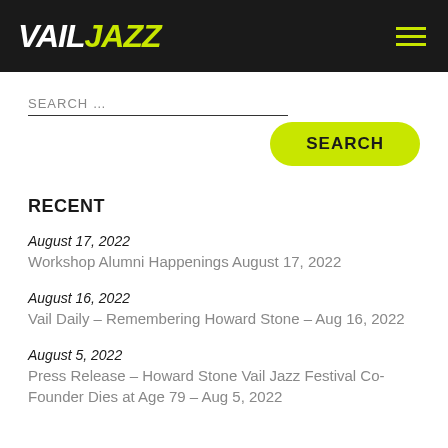VAIL JAZZ
SEARCH ...
SEARCH
RECENT
August 17, 2022
Workshop Alumni Happenings August 17, 2022
August 16, 2022
Vail Daily – Remembering Howard Stone – Aug 16, 2022
August 5, 2022
Press Release – Howard Stone Vail Jazz Festival Co-Founder Dies at Age 79 – Aug 5, 2022